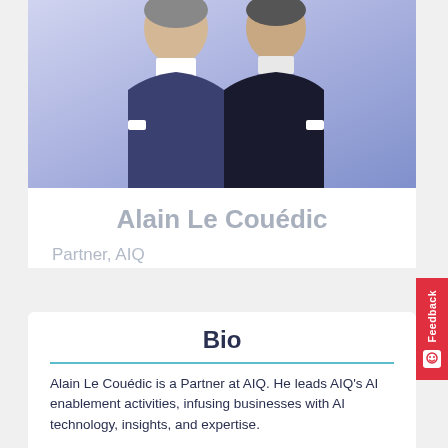[Figure (photo): Two men in suits with arms crossed posing against a purple/lavender background]
Alain Le Couédic
Partner, AIQ
Bio
Alain Le Couédic is a Partner at AIQ. He leads AIQ's AI enablement activities, infusing businesses with AI technology, insights, and expertise.
As an international professional, Alain has 25 years of experience in the management consulting industry, having started his career in New York with A.T. Kearney